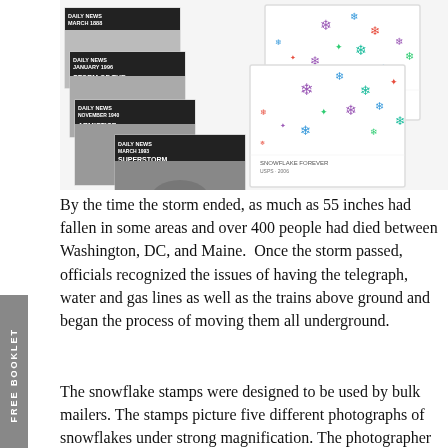[Figure (photo): Collage of newspaper front pages with headlines about historic storms (Great White Hurricane, Storm of the Century, Armistice Day Storm, Superstorm Hits USA) alongside snowflake stamp booklets showing colorful snowflake designs.]
By the time the storm ended, as much as 55 inches had fallen in some areas and over 400 people had died between Washington, DC, and Maine.  Once the storm passed, officials recognized the issues of having the telegraph, water and gas lines as well as the trains above ground and began the process of moving them all underground.
The snowflake stamps were designed to be used by bulk mailers. The stamps picture five different photographs of snowflakes under strong magnification. The photographer also used them and for 2006 Holiday Snowflake...